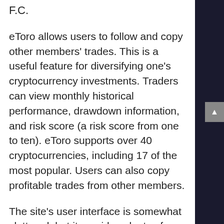F.C.
eToro allows users to follow and copy other members' trades. This is a useful feature for diversifying one's cryptocurrency investments. Traders can view monthly historical performance, drawdown information, and risk score (a risk score from one to ten). eToro supports over 40 cryptocurrencies, including 17 of the most popular. Users can also copy profitable trades from other members.
The site's user interface is somewhat cluttered, but it provides plenty of information. The customer support center is located in the FAQ section. Live chat is available during business hours, but eToro's representatives are often too busy to answer questions during weekends. Support is not offered via e-mail, so eToro relies on support tickets sent through the interface. Support tickets are responded to within